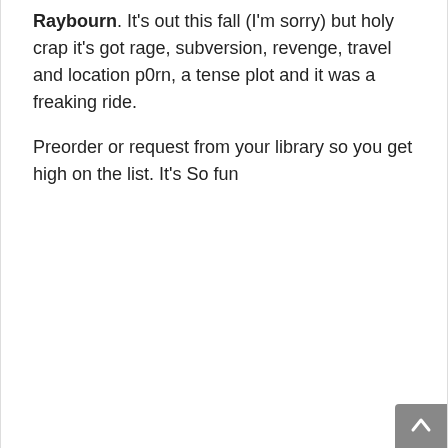Raybourn. It's out this fall (I'm sorry) but holy crap it's got rage, subversion, revenge, travel and location p0rn, a tense plot and it was a freaking ride.
Preorder or request from your library so you get high on the list. It's So fun